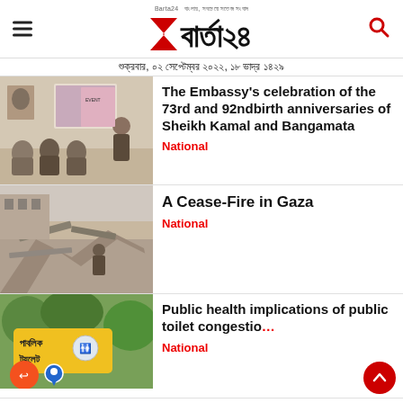Barta24 — শুক্রবার, ০২ সেপ্টেম্বর ২০২২, ১৮ ভাদ্র ১৪২৯
[Figure (photo): People seated in a conference room watching a presentation screen]
The Embassy's celebration of the 73rd and 92ndbirth anniversaries of Sheikh Kamal and Bangamata
National
[Figure (photo): Collapsed building rubble with people inspecting the damage]
A Cease-Fire in Gaza
National
[Figure (photo): Public toilet sign in Bengali reading পাবলিক টয়লেট with orange share button]
Public health implications of public toilet congestio
National